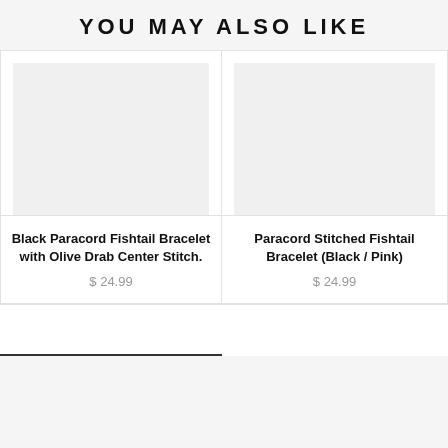YOU MAY ALSO LIKE
[Figure (photo): Product image placeholder for Black Paracord Fishtail Bracelet with Olive Drab Center Stitch - light gray box]
Black Paracord Fishtail Bracelet with Olive Drab Center Stitch.
$ 24.99
[Figure (photo): Product image placeholder for Paracord Stitched Fishtail Bracelet (Black / Pink) - light gray box]
Paracord Stitched Fishtail Bracelet (Black / Pink)
$ 24.99